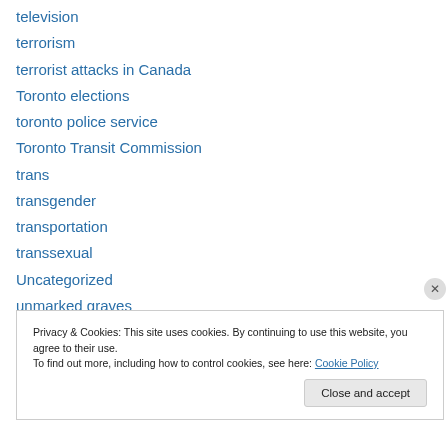television
terrorism
terrorist attacks in Canada
Toronto elections
toronto police service
Toronto Transit Commission
trans
transgender
transportation
transsexual
Uncategorized
unmarked graves
websites
Privacy & Cookies: This site uses cookies. By continuing to use this website, you agree to their use. To find out more, including how to control cookies, see here: Cookie Policy
Close and accept